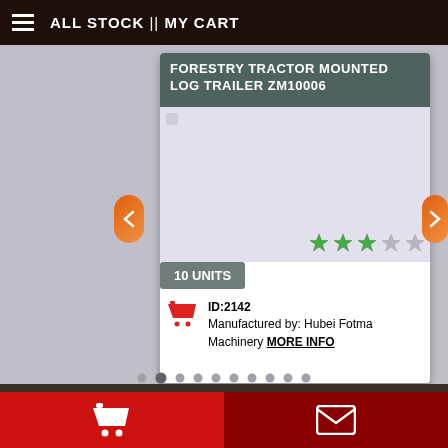ALL STOCK || MY CART
FORESTRY TRACTOR MOUNTED LOG TRAILER ZM10006
[Figure (screenshot): Product image area showing forestry tractor mounted log trailer, mostly white/light area with a small image indicator in top left]
[Figure (infographic): Star rating showing 3 out of 5 stars (3 green filled stars, 2 grey empty stars)]
10 UNITS
ID:2142
Manufactured by: Hubei Fotma Machinery MORE INFO
Navigation dots and bottom icon bar with cart and email icons